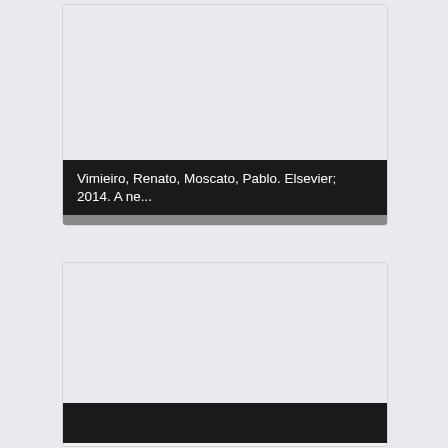[Figure (screenshot): Document card showing a publication entry for Vimieiro, Renato, Moscato, Pablo. Elsevier; 2014. with a light gray image area at top, a black title bar, and a gray stats bar showing Hits: 12032, Visitors: 1074, Downloads: 0]
Vimieiro, Renato, Moscato, Pablo. Elsevier; 2014. A ne...
Hits: 12032   Visitors: 1074   Downloads: 0
[Figure (screenshot): Second document card with a light gray image area and partially visible dark title bar at bottom]